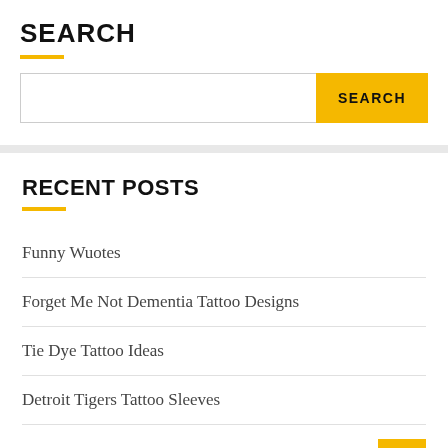SEARCH
SEARCH (button)
RECENT POSTS
Funny Wuotes
Forget Me Not Dementia Tattoo Designs
Tie Dye Tattoo Ideas
Detroit Tigers Tattoo Sleeves
Top 10 Travel Companies Uk